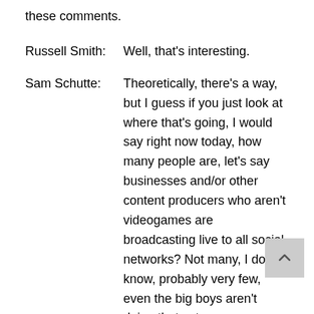these comments.
Russell Smith:        Well, that's interesting.
Sam Schutte:         Theoretically, there's a way, but I guess if you just look at where that's going, I would say right now today, how many people are, let's say businesses and/or other content producers who aren't videogames are broadcasting live to all social networks? Not many, I don't know, probably very few, even the big boys aren't doing that yet.
Russell Smith:        A new social network seems to